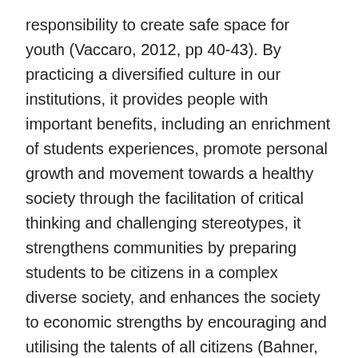responsibility to create safe space for youth (Vaccaro, 2012, pp 40-43). By practicing a diversified culture in our institutions, it provides people with important benefits, including an enrichment of students experiences, promote personal growth and movement towards a healthy society through the facilitation of critical thinking and challenging stereotypes, it strengthens communities by preparing students to be citizens in a complex diverse society, and enhances the society to economic strengths by encouraging and utilising the talents of all citizens (Bahner, 2007, pp 4-6).
The Observation and the Analysis of the video
Observation
From the video I observed an incident where is hit by a ball that is kicked by a bully at school which causes him to fall